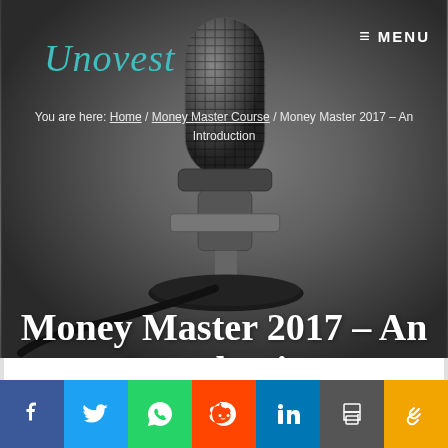Unovest
MENU
You are here: Home / Money Master Course / Money Master 2017 – An Introduction
[Figure (photo): Dark studio microphone on stand against dark grey gradient background]
Money Master 2017 – An Introduction
[Figure (infographic): Social sharing buttons row: Facebook, Twitter, WhatsApp, Reddit, LinkedIn, Print, Copy link]